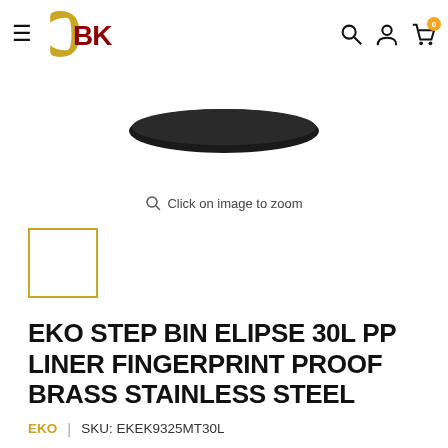CBK
[Figure (photo): Bottom portion of a dark-colored step bin product on white background]
Click on image to zoom
[Figure (photo): Small thumbnail image placeholder with gold border]
EKO STEP BIN ELIPSE 30L PP LINER FINGERPRINT PROOF BRASS STAINLESS STEEL
EKO | SKU: EKEK9325MT30L